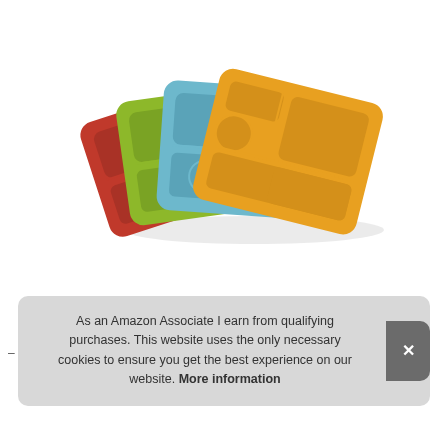[Figure (photo): Four colorful plastic divided meal trays (red, green/lime, light blue, and orange/yellow) fanned out overlapping each other on a white background. Each tray has multiple compartments including a circular one.]
As an Amazon Associate I earn from qualifying purchases. This website uses the only necessary cookies to ensure you get the best experience on our website. More information